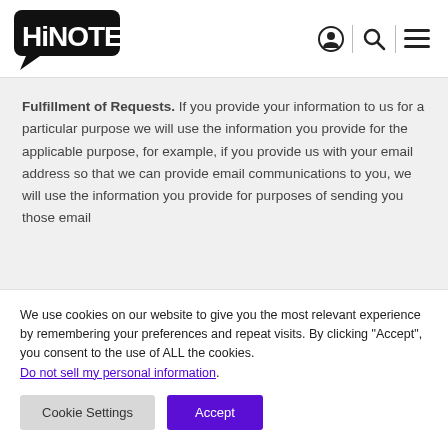HiNOTE! [logo with navigation icons: account, search, menu]
Fulfillment of Requests. If you provide your information to us for a particular purpose we will use the information you provide for the applicable purpose, for example, if you provide us with your email address so that we can provide email communications to you, we will use the information you provide for purposes of sending you those email
We use cookies on our website to give you the most relevant experience by remembering your preferences and repeat visits. By clicking "Accept", you consent to the use of ALL the cookies. Do not sell my personal information.
Cookie Settings | Accept